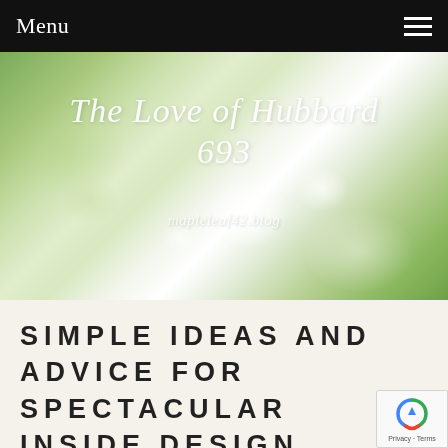Menu
[Figure (photo): Hero banner with blurred white flowers and green foliage background. Blog title 'The Love of Hubbard 693' in white italic script, subtitle 'mapleleaf42.blog' in white italic text.]
SIMPLE IDEAS AND ADVICE FOR SPECTACULAR INSIDE DESIGN
July 22, 2020